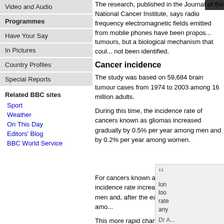Video and Audio
Programmes
Have Your Say
In Pictures
Country Profiles
Special Reports
Related BBC sites
Sport
Weather
On This Day
Editors' Blog
BBC World Service
The research, published in the Journal of the National Cancer Institute, says radio frequency electromagnetic fields emitted from mobile phones have been proposed as a potential cause of tumours, but a biological mechanism that could explain that has not been identified.
A bio... potentially... not b...
Cancer incidence
The study was based on 59,684 brain tumour cases diagnosed from 1974 to 2003 among 16 million adults.
During this time, the incidence rate of cancers known as gliomas increased gradually by 0.5% per year among men and by 0.2% per year among women.
lon... loo... rate... any...
Dr A...
For cancers known as meningioma, the incidence rate increased by 0.8% among men and, after the early 1990's, by 3.8% amo...
This more rapid change for women was driven by... 79 year age group.
Isabelle Deltour, of the Danish Cancer Society... said the lack of a detectable increase in tumo...